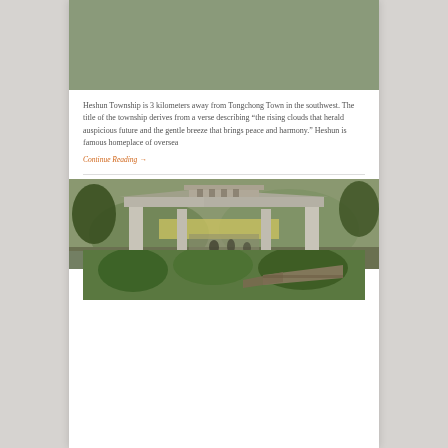[Figure (photo): A traditional Chinese stone gate/archway in Heshun Township, viewed from behind with mountains and fields in background, people walking through]
Heshun Township is 3 kilometers away from Tongchong Town in the southwest. The title of the township derives from a verse describing “the rising clouds that herald auspicious future and the gentle breeze that brings peace and harmony.” Heshun is famous homeplace of oversea
Continue Reading →
Shuhe Old Town
March 31, 2012
0 Comment
by Travel China with Me
[Figure (photo): Partial view of Shuhe Old Town showing traditional Chinese architecture with green trees]